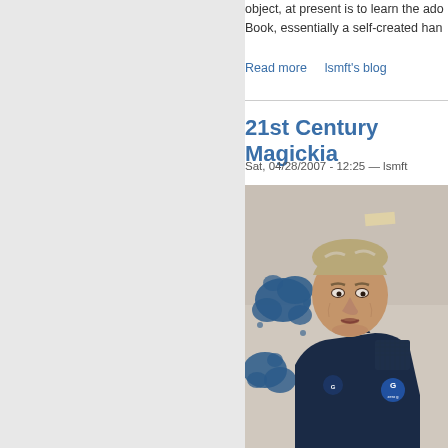object, at present is to learn the ado... Book, essentially a self-created han...
Read more    lsmft's blog
21st Century Magickia...
Sat, 04/28/2007 - 12:25 — lsmft
[Figure (photo): A middle-aged man wearing a dark navy jacket with 'zero g' branding, standing in front of a white wall with blue paint splatters. He has graying hair and is looking slightly downward.]